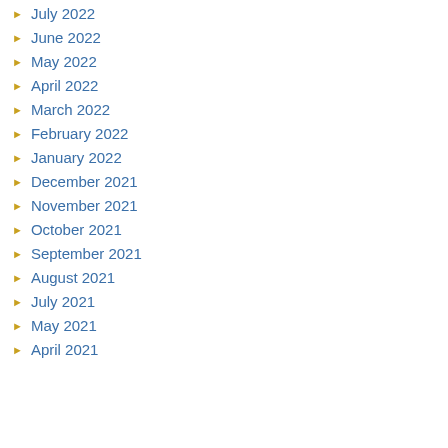July 2022
June 2022
May 2022
April 2022
March 2022
February 2022
January 2022
December 2021
November 2021
October 2021
September 2021
August 2021
July 2021
May 2021
April 2021